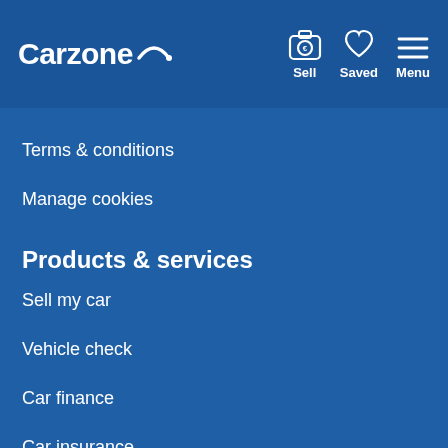Carzone — Sell, Saved, Menu
Terms & conditions
Manage cookies
Products & services
Sell my car
Vehicle check
Car finance
Car insurance
Ask us a question
Buying advice